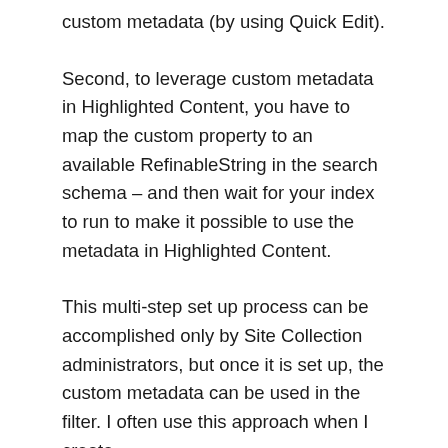custom metadata (by using Quick Edit).
Second, to leverage custom metadata in Highlighted Content, you have to map the custom property to an available RefinableString in the search schema – and then wait for your index to run to make it possible to use the metadata in Highlighted Content.
This multi-step set up process can be accomplished only by Site Collection administrators, but once it is set up, the custom metadata can be used in the filter. I often use this approach when I create